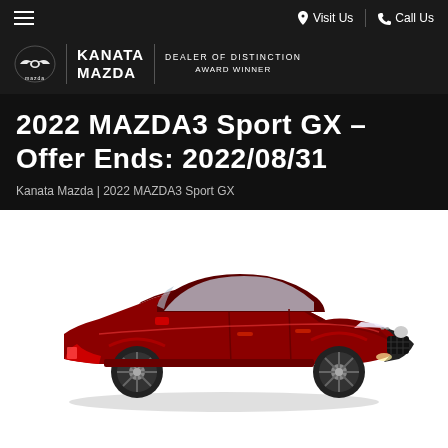≡   📍 Visit Us  |  📞 Call Us
[Figure (logo): Kanata Mazda logo with Mazda circular wing emblem, text 'KANATA MAZDA' and 'DEALER OF DISTINCTION AWARD WINNER']
2022 MAZDA3 Sport GX - Offer Ends: 2022/08/31
Kanata Mazda | 2022 MAZDA3 Sport GX
[Figure (photo): Red 2022 Mazda3 Sport GX hatchback photographed from a front 3/4 angle on a white background]